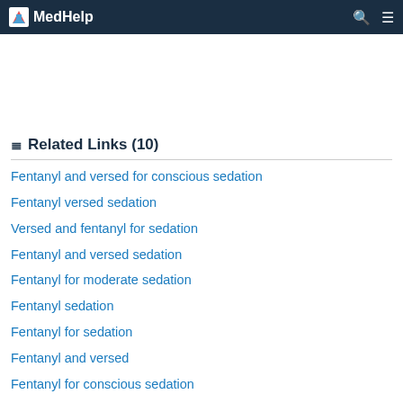MedHelp
Related Links (10)
Fentanyl and versed for conscious sedation
Fentanyl versed sedation
Versed and fentanyl for sedation
Fentanyl and versed sedation
Fentanyl for moderate sedation
Fentanyl sedation
Fentanyl for sedation
Fentanyl and versed
Fentanyl for conscious sedation
Fentanyl vs versed